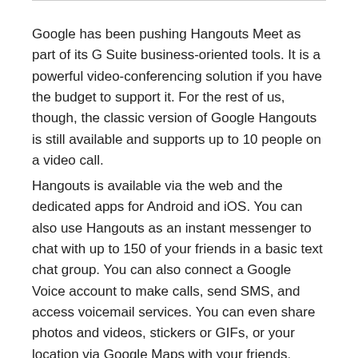Google has been pushing Hangouts Meet as part of its G Suite business-oriented tools. It is a powerful video-conferencing solution if you have the budget to support it. For the rest of us, though, the classic version of Google Hangouts is still available and supports up to 10 people on a video call.
Hangouts is available via the web and the dedicated apps for Android and iOS. You can also use Hangouts as an instant messenger to chat with up to 150 of your friends in a basic text chat group. You can also connect a Google Voice account to make calls, send SMS, and access voicemail services. You can even share photos and videos, stickers or GIFs, or your location via Google Maps with your friends.